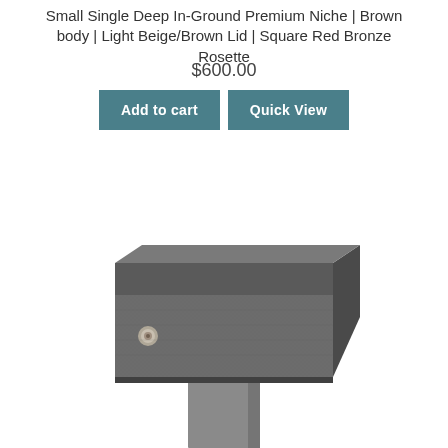Small Single Deep In-Ground Premium Niche | Brown body | Light Beige/Brown Lid | Square Red Bronze Rosette
$600.00
[Figure (photo): Product photo of a small square in-ground niche with a dark gray/charcoal textured square lid sitting on a narrower rectangular base, with a small circular bronze rosette visible on the side.]